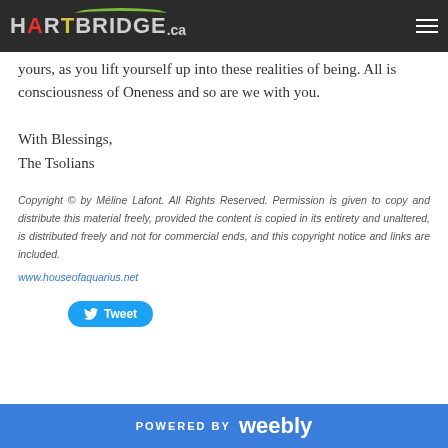HARTBRIDGE.ca
yours, as you lift yourself up into these realities of being. All is consciousness of Oneness and so are we with you.
With Blessings,
The Tsolians
Copyright © by Méline Lafont. All Rights Reserved. Permission is given to copy and distribute this material freely, provided the content is copied in its entirety and unaltered, is distributed freely and not for commercial ends, and this copyright notice and links are included.
www.houseofaquarius.net
POWERED BY weebly